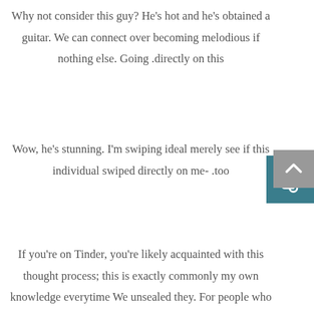Why not consider this guy? He's hot and he's obtained a guitar. We can connect over becoming melodious if nothing else. Going directly on this.
Wow, he's stunning. I'm swiping ideal merely see if this individual swiped directly on me- too.
If you're on Tinder, you're likely acquainted with this thought process; this is exactly commonly my own knowledge everytime We unsealed they. For people who are unfamiliar, Tinder happens to be a mobile software for